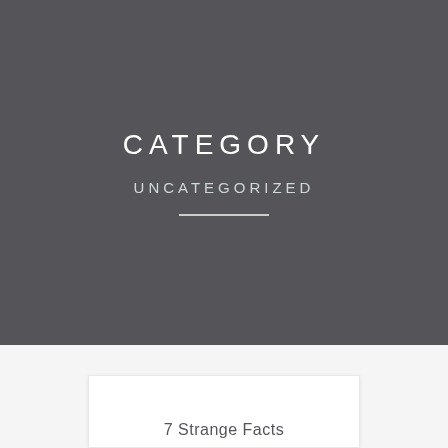CATEGORY
UNCATEGORIZED
7 Strange Facts